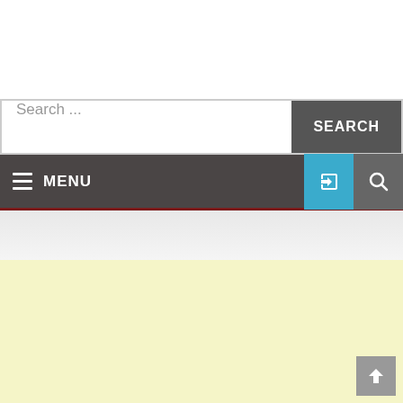[Figure (screenshot): White header area at the top of a website]
[Figure (screenshot): Search bar with placeholder text 'Search ...' and a dark gray SEARCH button on the right]
[Figure (screenshot): Dark gray navigation bar with hamburger menu icon and MENU text on left, blue login button with arrow icon and gray search icon on the right, red bottom border]
[Figure (screenshot): Light gray transitional area below navigation bar]
[Figure (screenshot): Pale yellow content area with a gray back-to-top arrow button in the bottom right corner]